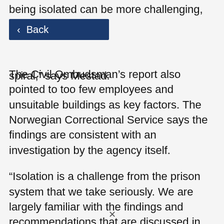being isolated can be more challenging, so it … spiral,” says Mestad.
[Figure (screenshot): Blue back navigation button with left arrow and text 'Back']
The Civil Ombudsman’s report also pointed to too few employees and unsuitable buildings as key factors. The Norwegian Correctional Service says the findings are consistent with an investigation by the agency itself.
“Isolation is a challenge from the prison system that we take seriously. We are largely familiar with the findings and recommendations that are discussed in the Civil Ombudsman’s report to the Storting,” says Director Lise Sannerud of the Norwegian Correctional Service.